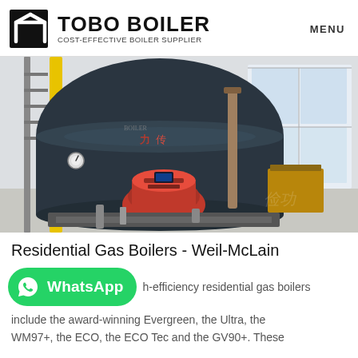TOBO BOILER - COST-EFFECTIVE BOILER SUPPLIER | MENU
[Figure (photo): Industrial gas boiler in a factory/warehouse setting. Large dark cylindrical pressure vessel with Chinese characters, red burner unit at front, yellow gas pipe on left, white industrial building interior with windows on right.]
Residential Gas Boilers - Weil-McLain
[Figure (logo): WhatsApp button - green rounded rectangle with WhatsApp phone icon and bold white text 'WhatsApp']
h-efficiency residential gas boilers include the award-winning Evergreen, the Ultra, the WM97+, the ECO, the ECO Tec and the GV90+. These